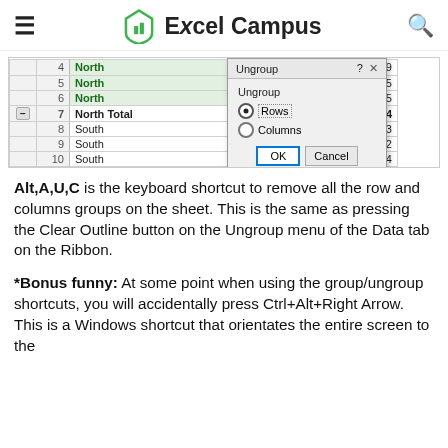Excel Campus
[Figure (screenshot): Excel spreadsheet showing grouped rows with North/South data and an Ungroup dialog box with Rows selected, OK and Cancel buttons.]
Alt,A,U,C is the keyboard shortcut to remove all the row and columns groups on the sheet. This is the same as pressing the Clear Outline button on the Ungroup menu of the Data tab on the Ribbon.
*Bonus funny: At some point when using the group/ungroup shortcuts, you will accidentally press Ctrl+Alt+Right Arrow. This is a Windows shortcut that orientates the entire screen to the